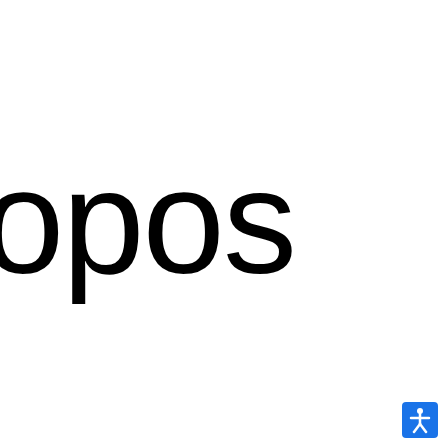opos
[Figure (illustration): Accessibility icon: white figure with arms outstretched on a blue square background, bottom-right corner]